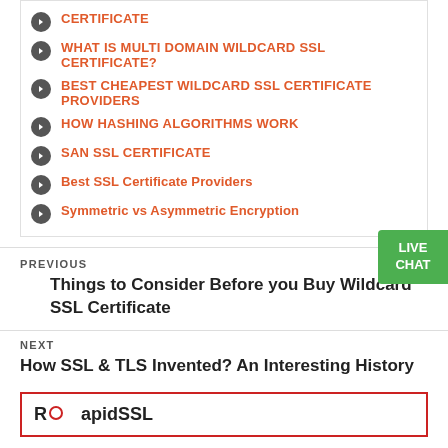CERTIFICATE
WHAT IS MULTI DOMAIN WILDCARD SSL CERTIFICATE?
BEST CHEAPEST WILDCARD SSL CERTIFICATE PROVIDERS
HOW HASHING ALGORITHMS WORK
SAN SSL CERTIFICATE
Best SSL Certificate Providers
Symmetric vs Asymmetric Encryption
PREVIOUS
Things to Consider Before you Buy Wildcard SSL Certificate
NEXT
How SSL & TLS Invented? An Interesting History
RapidSSL